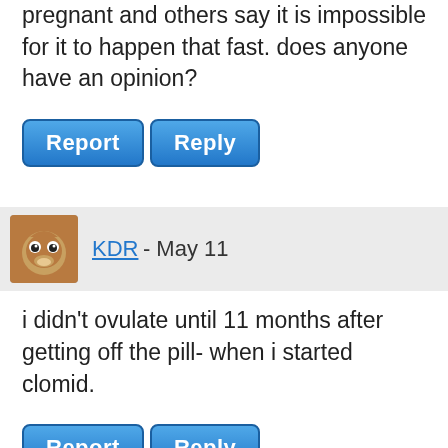pregnant and others say it is impossible for it to happen that fast. does anyone have an opinion?
Report   Reply
KDR - May 11
i didn't ovulate until 11 months after getting off the pill- when i started clomid.
Report   Reply
slowpoke01 - May 11
I am not sure how long it takes but you can buy the ovulation kits and use those you just do them like you would a pregnancy test and just pee on it and it will tell you 2 lines if